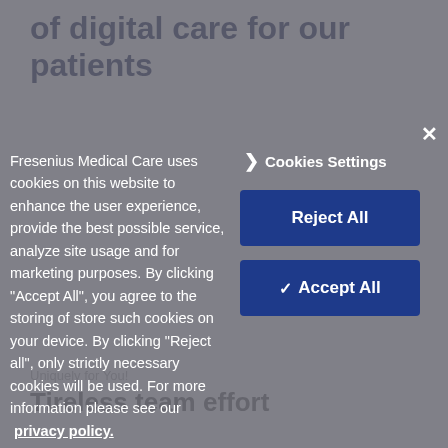of digital care for our patients
Fresenius Medical Care uses cookies on this website to enhance the user experience, provide the best possible service, analyze site usage and for marketing purposes. By clicking “Accept All”, you agree to the storing of store such cookies on your device. By clicking “Reject all”, only strictly necessary cookies will be used. For more information please see our privacy policy.
Cookies Settings
Reject All
✓ Accept All